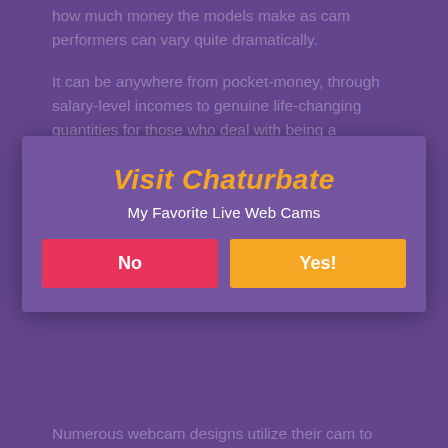how much money the models make as cam performers can vary quite dramatically.
It can be anywhere from pocket-money, through salary-level incomes to genuine life-changing quantities for those who deal with being a webcam girl as a severe profession and commit themselves to being the very best performers they can.
Just like any home entertainment occupation, the genetic lottery game plays a huge function in one's success.
[Figure (other): Modal popup overlay with title 'Visit Chaturbate', subtitle 'My Favorite Live Web Cams', and two buttons: 'No' (pink/red) and 'Yes!' (orange)]
Numerous webcam designs utilize their cam to show their sexuality and to have a little fun.
They also provide a service, which is the ability to be monitored while they masturbate themselves or view other individuals masturbating.
It can be a reliable way to make some additional money.